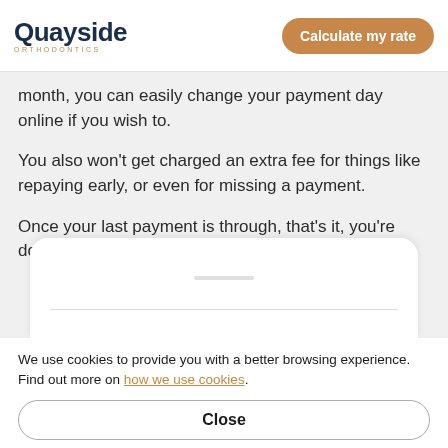[Figure (logo): Quayside Orthodontics logo with dark blue bold text and circular 'ORTHODONTICS' subtitle in orange]
Calculate my rate
month, you can easily change your payment day online if you wish to.
You also won’t get charged an extra fee for things like repaying early, or even for missing a payment.
Once your last payment is through, that’s it, you’re done.
We use cookies to provide you with a better browsing experience. Find out more on how we use cookies.
Close